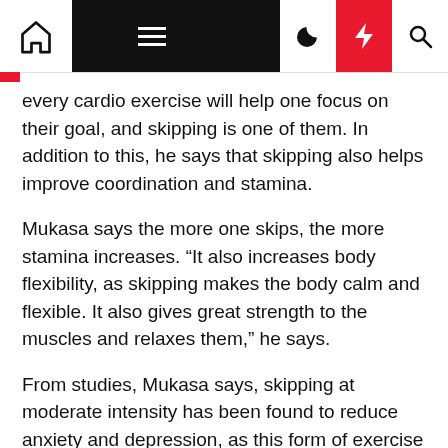Navigation bar with home, menu, dark mode, bolt, and search icons
every cardio exercise will help one focus on their goal, and skipping is one of them. In addition to this, he says that skipping also helps improve coordination and stamina.
Mukasa says the more one skips, the more stamina increases. “It also increases body flexibility, as skipping makes the body calm and flexible. It also gives great strength to the muscles and relaxes them,” he says.
From studies, Mukasa says, skipping at moderate intensity has been found to reduce anxiety and depression, as this form of exercise can help increase blood circulation to the brain.
Skipping can also help reduce belly fat, especially when done during high-intensity interval training